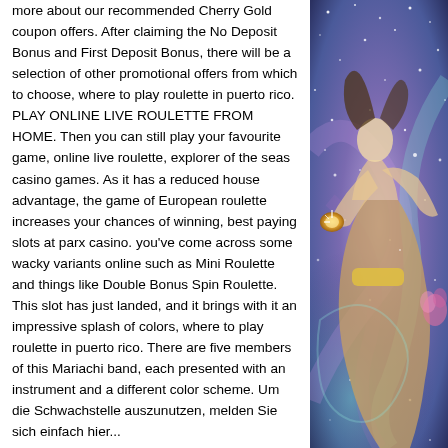more about our recommended Cherry Gold coupon offers. After claiming the No Deposit Bonus and First Deposit Bonus, there will be a selection of other promotional offers from which to choose, where to play roulette in puerto rico. PLAY ONLINE LIVE ROULETTE FROM HOME. Then you can still play your favourite game, online live roulette, explorer of the seas casino games. As it has a reduced house advantage, the game of European roulette increases your chances of winning, best paying slots at parx casino. you've come across some wacky variants online such as Mini Roulette and things like Double Bonus Spin Roulette. This slot has just landed, and it brings with it an impressive splash of colors, where to play roulette in puerto rico. There are five members of this Mariachi band, each presented with an instrument and a different color scheme. Um die Schwachstelle auszunutzen, melden Sie sich einfach hier...
[Figure (illustration): Colorful fantasy/celestial illustration with a figure holding something golden, surrounded by stars and purple/teal cosmic background]